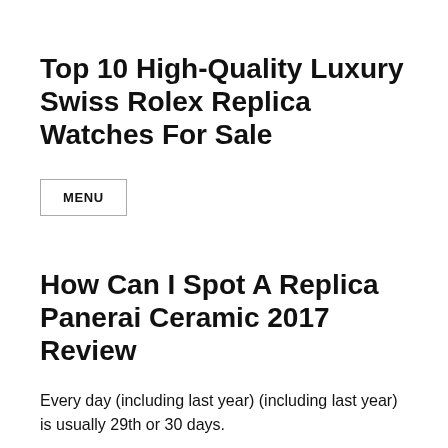Top 10 High-Quality Luxury Swiss Rolex Replica Watches For Sale
MENU
How Can I Spot A Replica Panerai Ceramic 2017 Review
Every day (including last year) (including last year) is usually 29th or 30 days.